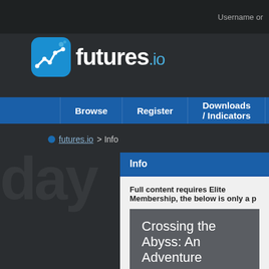Username or
[Figure (logo): futures.io logo with blue chart icon and white/blue text]
Browse  Register  Downloads / Indicators  Trading Webinars  Articl
futures.io > Info
Info
Full content requires Elite Membership, the below is only a p
Crossing the Abyss: An Adventure
NOTE: As of September 21, 2021, I am going to be re will be interesting to see how it has evolved over time. T